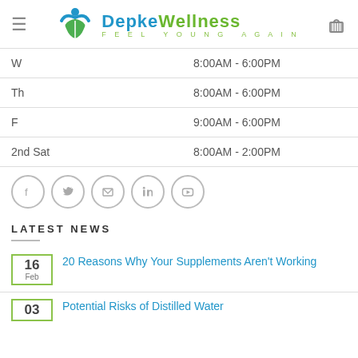Depke Wellness - FEEL YOUNG AGAIN
| Day | Hours |
| --- | --- |
| W | 8:00AM - 6:00PM |
| Th | 8:00AM - 6:00PM |
| F | 9:00AM - 6:00PM |
| 2nd Sat | 8:00AM - 2:00PM |
[Figure (infographic): Social media icons: Facebook, Twitter, Email, LinkedIn, YouTube]
LATEST NEWS
16 Feb - 20 Reasons Why Your Supplements Aren't Working
03 - Potential Risks of Distilled Water